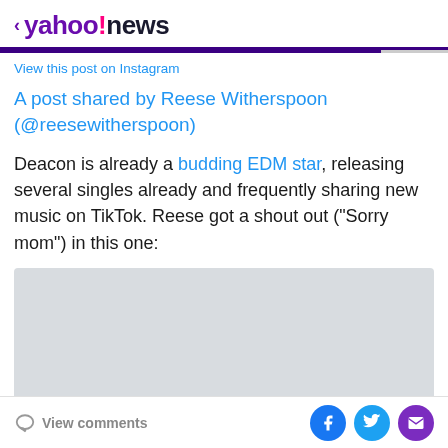< yahoo!news
View this post on Instagram
A post shared by Reese Witherspoon (@reesewitherspoon)
Deacon is already a budding EDM star, releasing several singles already and frequently sharing new music on TikTok. Reese got a shout out ("Sorry mom") in this one:
[Figure (other): Embedded TikTok/video player placeholder, light gray rectangle]
View comments